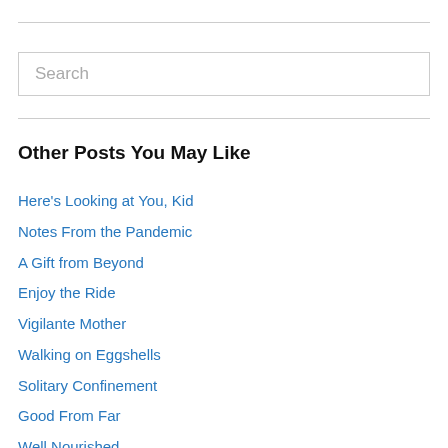Search
Other Posts You May Like
Here's Looking at You, Kid
Notes From the Pandemic
A Gift from Beyond
Enjoy the Ride
Vigilante Mother
Walking on Eggshells
Solitary Confinement
Good From Far
Well Nourished
The Free Ranger
Get a Little Uncomfortable
Sweet Elusive Sleep